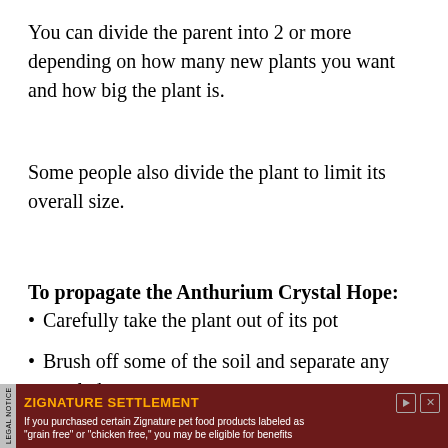You can divide the parent into 2 or more depending on how many new plants you want and how big the plant is.
Some people also divide the plant to limit its overall size.
To propagate the Anthurium Crystal Hope:
Carefully take the plant out of its pot
Brush off some of the soil and separate any tangled roots.
Check the root system for any problems
[Figure (other): Advertisement banner: ZIGNATURE SETTLEMENT legal notice ad on dark red background. Text reads: 'If you purchased certain Zignature pet food products labeled as "grain free" or "chicken free," you may be eligible for benefits']